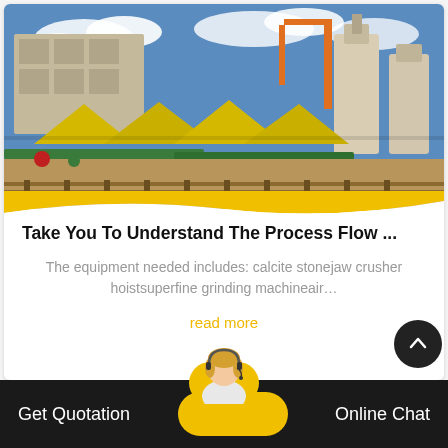[Figure (photo): Industrial mining/crushing plant site with yellow tent covers, conveyor belts, machinery, crane, and industrial grinder towers against a blue sky with clouds]
Take You To Understand The Process Flow ...
The equipment needed includes: calcite stonejaw crusher hoistsuperfine grinding machineair…
read more
[Figure (photo): Customer service representative (blonde woman with headset) avatar above bottom navigation bar]
Get Quotation    Online Chat